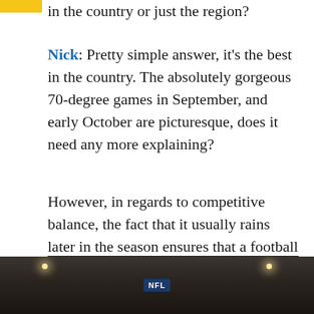in the country or just the region?
Nick: Pretty simple answer, it's the best in the country. The absolutely gorgeous 70-degree games in September, and early October are picturesque, does it need any more explaining?
However, in regards to competitive balance, the fact that it usually rains later in the season ensures that a football team can't skate by without a rushing attack. Bullshit spread offenses usually struggle in the rain.
[Figure (photo): Stadium photo with bright lights visible, NFL logo overlay, night game atmosphere]